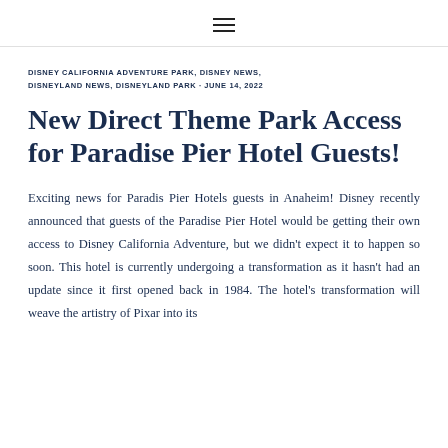≡
DISNEY CALIFORNIA ADVENTURE PARK, DISNEY NEWS, DISNEYLAND NEWS, DISNEYLAND PARK · JUNE 14, 2022
New Direct Theme Park Access for Paradise Pier Hotel Guests!
Exciting news for Paradis Pier Hotels guests in Anaheim! Disney recently announced that guests of the Paradise Pier Hotel would be getting their own access to Disney California Adventure, but we didn't expect it to happen so soon. This hotel is currently undergoing a transformation as it hasn't had an update since it first opened back in 1984. The hotel's transformation will weave the artistry of Pixar into its